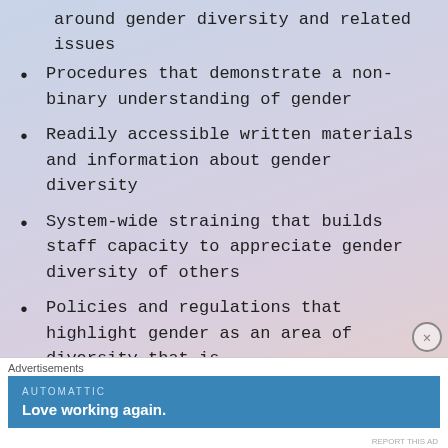around gender diversity and related issues
Procedures that demonstrate a non-binary understanding of gender
Readily accessible written materials and information about gender diversity
System-wide straining that builds staff capacity to appreciate gender diversity of others
Policies and regulations that highlight gender as an area of diversity that is